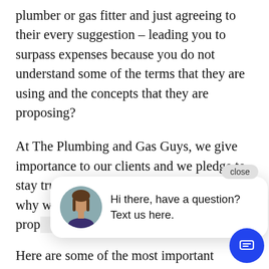plumber or gas fitter and just agreeing to their every suggestion – leading you to surpass expenses because you do not understand some of the terms that they are using and the concepts that they are proposing?
At The Plumbing and Gas Guys, we give importance to our clients and we pledge to stay true to the services that we offer that's why we ma[...] the terms th[...] we are prop[...] efficiently.
[Figure (screenshot): Chat widget popup with close button, avatar of a woman, and the text 'Hi there, have a question? Text us here.' with a blue chat icon button.]
Here are some of the most important plumbing concepts and terms that you need to know before going through extensive